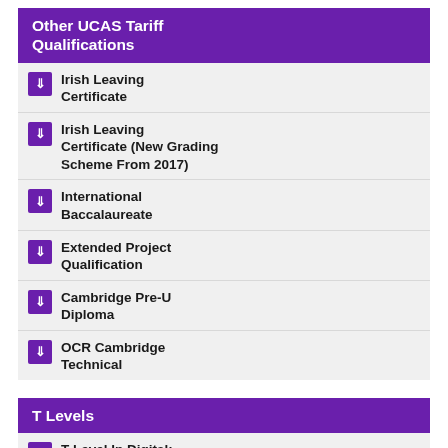Other UCAS Tariff Qualifications
Irish Leaving Certificate
Irish Leaving Certificate (New Grading Scheme From 2017)
International Baccalaureate
Extended Project Qualification
Cambridge Pre-U Diploma
OCR Cambridge Technical
T Levels
T Level In Digital: Digital Production, Design